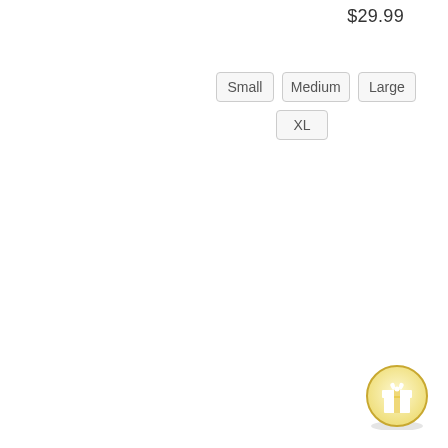$29.99
Small
Medium
Large
XL
[Figure (illustration): Circular gold-bordered gift icon button with a white gift box symbol in the center, used as a UI floating action button]